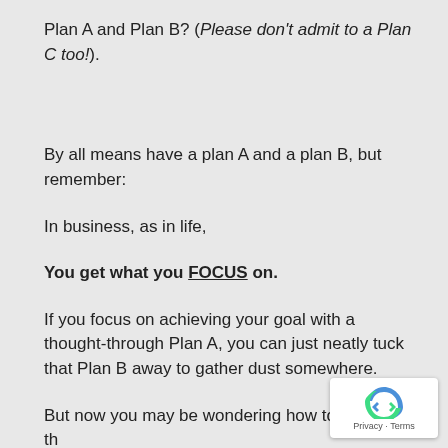Plan A and Plan B? (Please don't admit to a Plan C too!).
By all means have a plan A and a plan B, but remember:
In business, as in life,
You get what you FOCUS on.
If you focus on achieving your goal with a thought-through Plan A, you can just neatly tuck that Plan B away to gather dust somewhere.
But now you may be wondering how to get a thought-through Plan A.